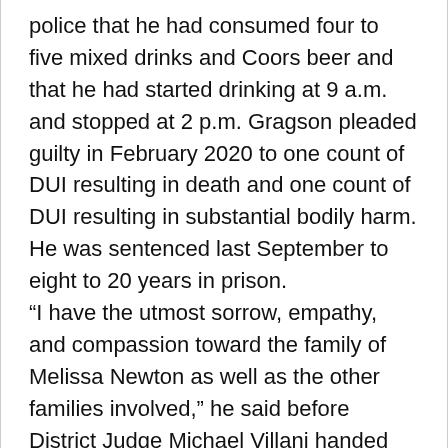police that he had consumed four to five mixed drinks and Coors beer and that he had started drinking at 9 a.m. and stopped at 2 p.m. Gragson pleaded guilty in February 2020 to one count of DUI resulting in death and one count of DUI resulting in substantial bodily harm. He was sentenced last September to eight to 20 years in prison. “I have the utmost sorrow, empathy, and compassion toward the family of Melissa Newton as well as the other families involved,” he said before District Judge Michael Villani handed down the sentence. “I have accepted the reality that I am going to the one place on earth that I have always feared, and that is prison.” According to the Nevada Department of Corrections, Gragson is incarcerated at Stewart Conservation Camp, a facility in Carson City that